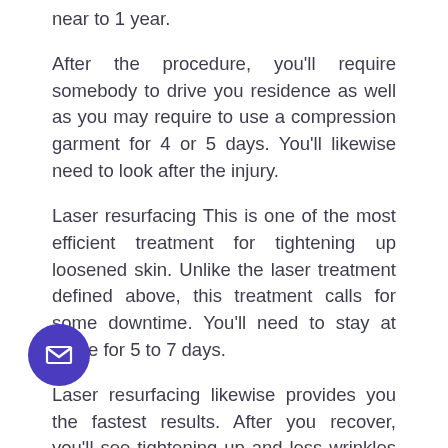near to 1 year.
After the procedure, you'll require somebody to drive you residence as well as you may require to use a compression garment for 4 or 5 days. You'll likewise need to look after the injury.
Laser resurfacing This is one of the most efficient treatment for tightening up loosened skin. Unlike the laser treatment defined above, this treatment calls for some downtime. You'll need to stay at home for 5 to 7 days.
Laser resurfacing likewise provides you the fastest results. After you recover, you'll see tightening up and less wrinkles within 2 weeks.
om line: Laser resurfacing can tighten skin, typically better than any other skin-tightening